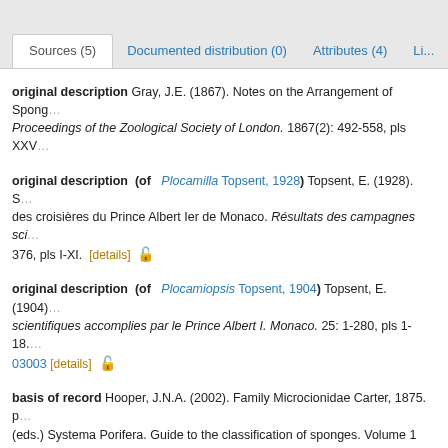Sources (5) | Documented distribution (0) | Attributes (4) | Li...
original description Gray, J.E. (1867). Notes on the Arrangement of Spong... Proceedings of the Zoological Society of London. 1867(2): 492-558, pls XXV...
original description (of Plocamilla Topsent, 1928) Topsent, E. (1928). S... des croisières du Prince Albert Ier de Monaco. Résultats des campagnes sci... 376, pls I-XI. [details]
original description (of Plocamiopsis Topsent, 1904) Topsent, E. (1904)... scientifiques accomplies par le Prince Albert I. Monaco. 25: 1-280, pls 1-18.... 03003 [details]
basis of record Hooper, J.N.A. (2002). Family Microcionidae Carter, 1875. p... (eds.) Systema Porifera. Guide to the classification of sponges. Volume 1 (K... Dordrecht, London, Moscow). [details] Available for editors
basis of record Hooper, J. N. A. (2002 [2004]). Family Microcionidae Carter... R.W.M. (2002 [2004]). Systema Porifera. A Guide to the Classification of Spo... York. 1708+XLVIII. ISBN 978-1-4615-0747-5 (eBook electronic version). [deta...